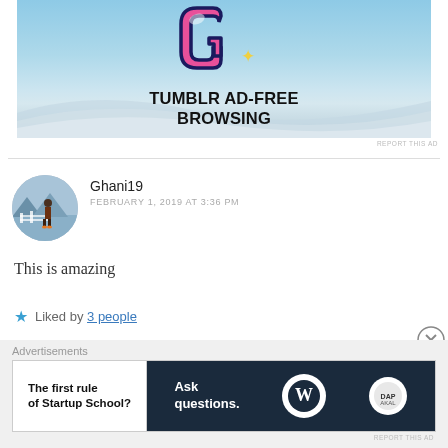[Figure (screenshot): Tumblr ad banner showing the Tumblr G logo, a yellow sparkle, and text 'TUMBLR AD-FREE BROWSING' on a light blue background.]
REPORT THIS AD
Ghani19
FEBRUARY 1, 2019 AT 3:36 PM
This is amazing
★ Liked by 3 people
Advertisements
[Figure (screenshot): Bottom advertisement with left white panel reading 'The first rule of Startup School?' and right dark panel with 'Ask questions.' and WordPress logo circles.]
REPORT THIS AD